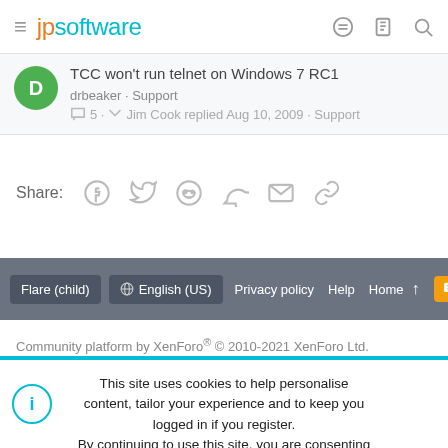jpsoftware
TCC won't run telnet on Windows 7 RC1 · drbeaker · Support · 5 · Jim Cook replied Aug 10, 2009 · Support
Share:
Flare (child) · English (US) · Privacy policy · Help · Home
Community platform by XenForo® © 2010-2021 XenForo Ltd.
This site uses cookies to help personalise content, tailor your experience and to keep you logged in if you register. By continuing to use this site, you are consenting to our use of cookies.